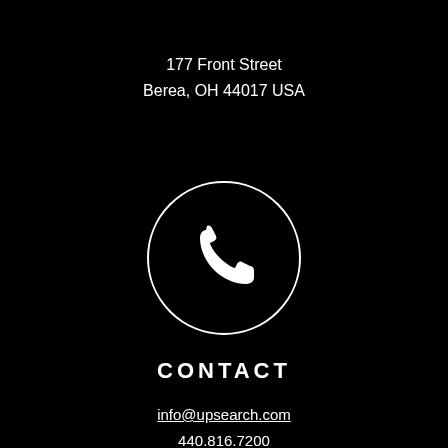177 Front Street
Berea, OH 44017 USA
[Figure (illustration): A white circle outline with a white telephone handset icon in the center, on a black background]
CONTACT
info@upsearch.com
440.816.7200